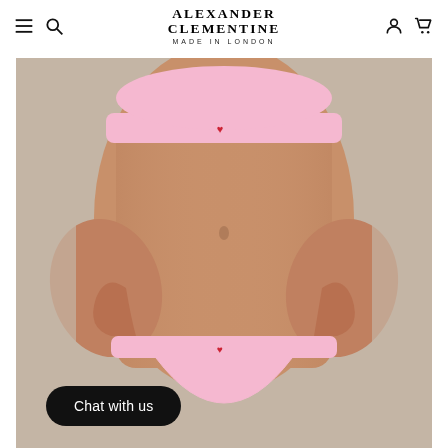ALEXANDER CLEMENTINE
MADE IN LONDON
[Figure (photo): Model wearing pink lingerie set (bralette and thong) with small red heart logo detail, photographed against a light beige/grey background. The image shows the torso area only.]
Chat with us